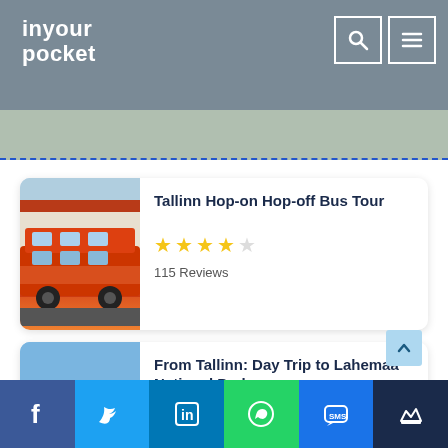[Figure (screenshot): In Your Pocket website header with logo and navigation icons on grey background]
[Figure (screenshot): Map strip with dashed border placeholder]
Tallinn Hop-on Hop-off Bus Tour
[Figure (photo): Red hop-on hop-off bus in Tallinn with white building behind]
115 Reviews
From Tallinn: Day Trip to Lahemaa National Park
7 hours
[Figure (photo): Waterfall at Lahemaa National Park]
Social media links: Facebook, Twitter, LinkedIn, WhatsApp, SMS, Crown